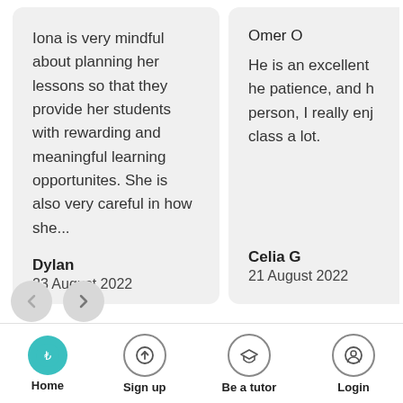Iona is very mindful about planning her lessons so that they provide her students with rewarding and meaningful learning opportunites. She is also very careful in how she...
Dylan
23 August 2022
Omer O
He is an excellent he patience, and h person, I really enj class a lot.
Celia G
21 August 2022
[Figure (other): Navigation carousel buttons: left arrow (light gray circle) and right arrow (gray circle)]
Home | Sign up | Be a tutor | Login